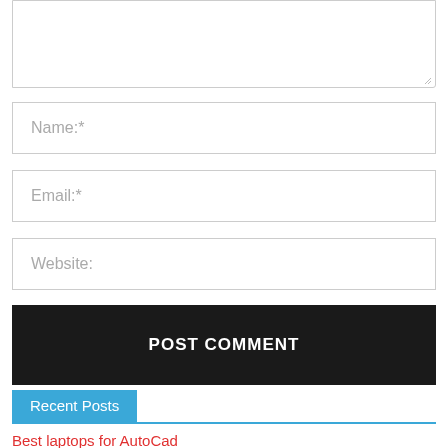[Figure (screenshot): Textarea input box (comment field) partially visible at top]
Name:*
Email:*
Website:
POST COMMENT
Recent Posts
Best laptops for AutoCad